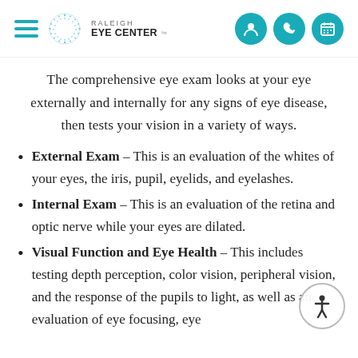Raleigh Eye Center
The comprehensive eye exam looks at your eye externally and internally for any signs of eye disease, then tests your vision in a variety of ways.
External Exam – This is an evaluation of the whites of your eyes, the iris, pupil, eyelids, and eyelashes.
Internal Exam – This is an evaluation of the retina and optic nerve while your eyes are dilated.
Visual Function and Eye Health – This includes testing depth perception, color vision, peripheral vision, and the response of the pupils to light, as well as an evaluation of eye focusing, eye…